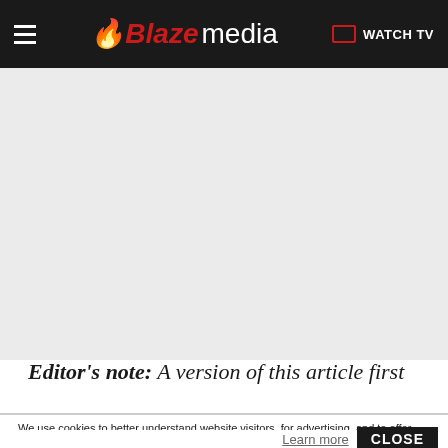Blaze media | WATCH TV
[Figure (other): Gray placeholder/advertisement area below the navigation bar]
Editor's note: A version of this article first
We use cookies to better understand website visitors, for advertising, and to offer you a better experience. For more information about our use of cookies, our collection, use, and disclosure of personal information generally, and any rights you may have to access, delete, or opt out of the sale of your personal information, please view our Privacy Policy.
Learn more   CLOSE